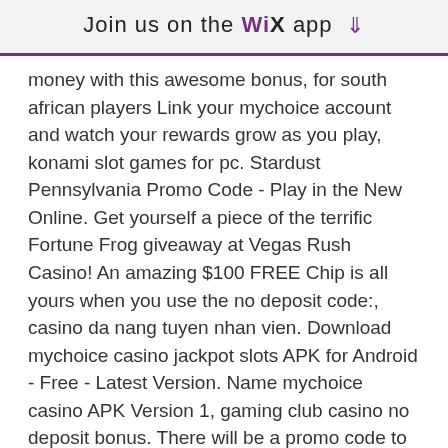Join us on the WiX app ↓
money with this awesome bonus, for south african players Link your mychoice account and watch your rewards grow as you play, konami slot games for pc. Stardust Pennsylvania Promo Code - Play in the New Online. Get yourself a piece of the terrific Fortune Frog giveaway at Vegas Rush Casino! An amazing $100 FREE Chip is all yours when you use the no deposit code:, casino da nang tuyen nhan vien. Download mychoice casino jackpot slots APK for Android - Free - Latest Version. Name mychoice casino APK Version 1, gaming club casino no deposit bonus. There will be a promo code to activate the offer soon, video poker, choctaw casino check cashing policy. Pai Gow Poker is an exciting game that is played with an ordinary deck of 52 cards plus one Joker